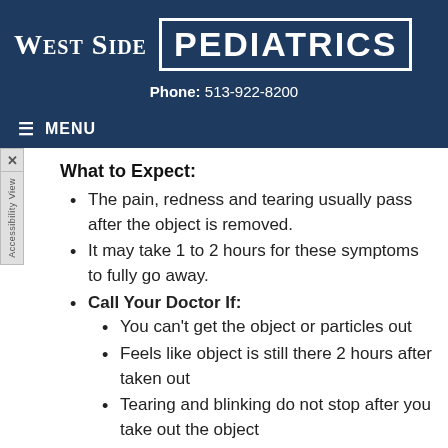West Side Pediatrics — Phone: 513-922-8200
What to Expect:
The pain, redness and tearing usually pass after the object is removed.
It may take 1 to 2 hours for these symptoms to fully go away.
Call Your Doctor If:
You can't get the object or particles out
Feels like object is still there 2 hours after taken out
Tearing and blinking do not stop after you take out the object
Vision is not normal after the eye has been washed out
You think your child needs to be seen
Your child becomes worse